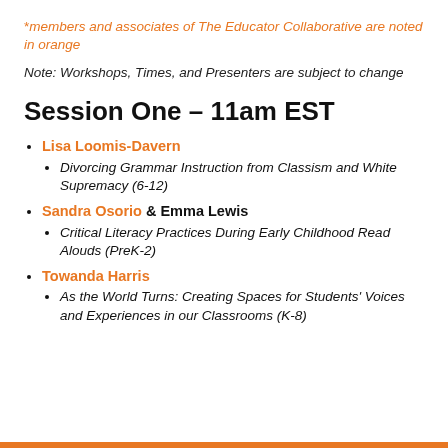*members and associates of The Educator Collaborative are noted in orange
Note: Workshops, Times, and Presenters are subject to change
Session One – 11am EST
Lisa Loomis-Davern
Divorcing Grammar Instruction from Classism and White Supremacy (6-12)
Sandra Osorio & Emma Lewis
Critical Literacy Practices During Early Childhood Read Alouds (PreK-2)
Towanda Harris
As the World Turns: Creating Spaces for Students' Voices and Experiences in our Classrooms (K-8)